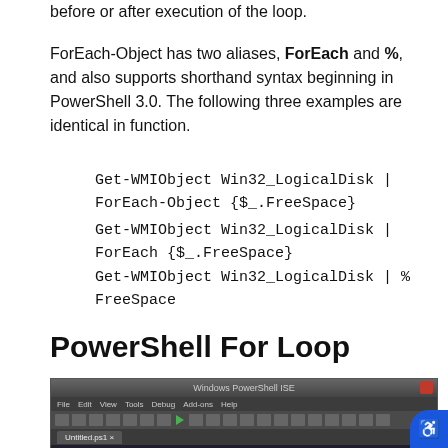before or after execution of the loop.
ForEach-Object has two aliases, ForEach and %, and also supports shorthand syntax beginning in PowerShell 3.0. The following three examples are identical in function.
Get-WMIObject Win32_LogicalDisk | ForEach-Object {$_.FreeSpace}
Get-WMIObject Win32_LogicalDisk | ForEach {$_.FreeSpace}
Get-WMIObject Win32_LogicalDisk | % FreeSpace
PowerShell For Loop
[Figure (screenshot): PowerShell ISE screenshot showing a script with a loop that reads a text file to find a search pattern, listing line numbers and patterns. Code includes Get-Content and $pattern variable assignments.]